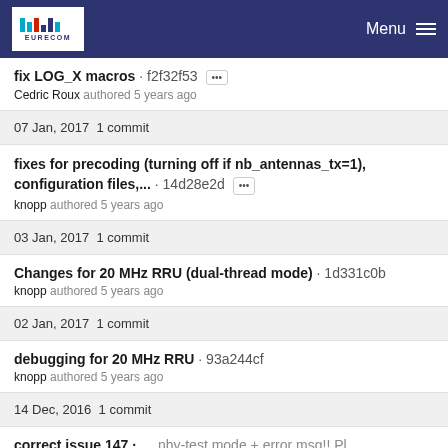EURECOM | Menu
fix LOG_X macros · f2f32f53
Cedric Roux authored 5 years ago
07 Jan, 2017  1 commit
fixes for precoding (turning off if nb_antennas_tx=1), configuration files,... · 14d28e2d
knopp authored 5 years ago
03 Jan, 2017  1 commit
Changes for 20 MHz RRU (dual-thread mode) · 1d331c0b
knopp authored 5 years ago
02 Jan, 2017  1 commit
debugging for 20 MHz RRU · 93a244cf
knopp authored 5 years ago
14 Dec, 2016  1 commit
correct issue 147 • ... nhy-test mode + error msg!! Pl...